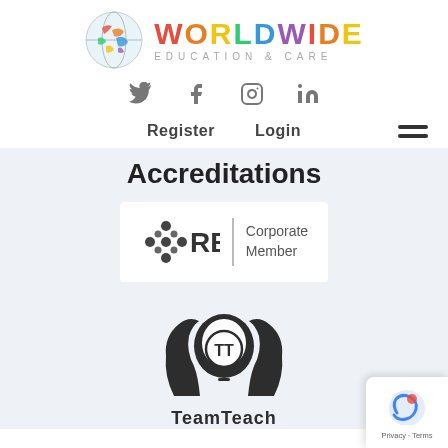[Figure (logo): Worldwide Education & Care logo with globe icon and colorful text]
[Figure (infographic): Social media icons: Twitter, Facebook, Instagram, LinkedIn]
Register   Login
Accreditations
[Figure (logo): REC Corporate Member logo]
[Figure (logo): TeamTeach logo showing two head silhouettes with lightbulb containing TT initials]
TeamTeach